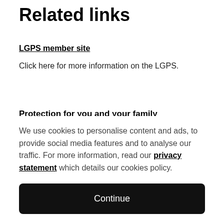Related links
LGPS member site
Click here for more information on the LGPS.
Protection for you and your family
We use cookies to personalise content and ads, to provide social media features and to analyse our traffic. For more information, read our privacy statement which details our cookies policy.
Continue